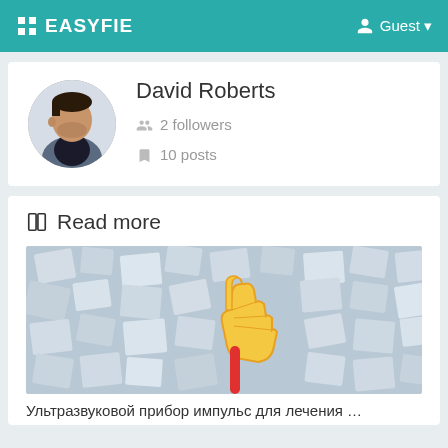EASYFIE   Guest
David Roberts
2 followers
10 posts
Read more
[Figure (illustration): Article thumbnail showing a paper-clip shaped thumbs-down icon on a light blue mosaic background made of scattered paper squares.]
Ультразвуковой прибор импульс для лечения …